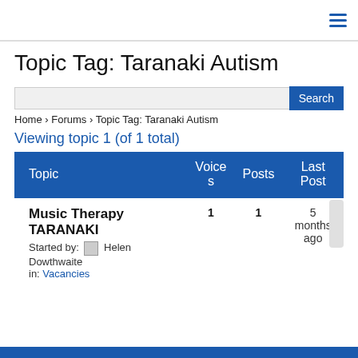≡ (hamburger menu icon)
Topic Tag: Taranaki Autism
Search
Home › Forums › Topic Tag: Taranaki Autism
Viewing topic 1 (of 1 total)
| Topic | Voices | Posts | Last Post |
| --- | --- | --- | --- |
| Music Therapy TARANAKI
Started by: Helen Dowthwaite
in: Vacancies | 1 | 1 | 5 months ago |